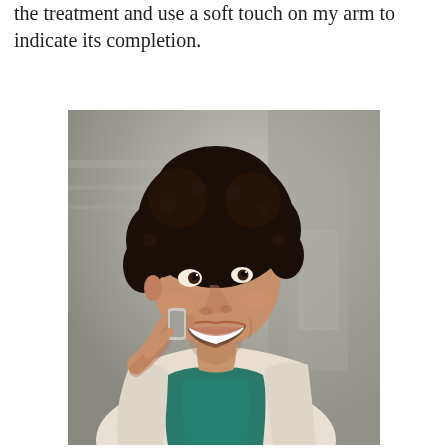the treatment and use a soft touch on my arm to indicate its completion.
[Figure (photo): A smiling young Black woman with natural curly hair, wearing a teal/green top and light beige blazer, holding a phone to her ear and looking upward, photographed outdoors with a blurred urban background.]